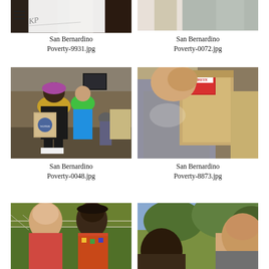[Figure (photo): Partially visible photo of a person at top left, with hamburger menu icon and logo overlay]
[Figure (photo): Partially visible photo of people at top right]
San Bernardino Poverty-9931.jpg
San Bernardino Poverty-0072.jpg
[Figure (photo): Indoor scene showing people carrying brown paper grocery bags at a food distribution event]
[Figure (photo): Man carrying large brown paper grocery bags over his shoulder with a bread loaf visible]
San Bernardino Poverty-0048.jpg
San Bernardino Poverty-8873.jpg
[Figure (photo): Two women talking outdoors near a chain-link fence, partially cropped at bottom]
[Figure (photo): Man outdoors with trees in background, partially cropped at bottom]